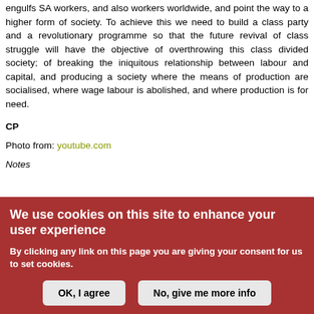engulfs SA workers, and also workers worldwide, and point the way to a higher form of society. To achieve this we need to build a class party and a revolutionary programme so that the future revival of class struggle will have the objective of overthrowing this class divided society; of breaking the iniquitous relationship between labour and capital, and producing a society where the means of production are socialised, where wage labour is abolished, and where production is for need.
CP
Photo from: youtube.com
Notes
We use cookies on this site to enhance your user experience
By clicking any link on this page you are giving your consent for us to set cookies.